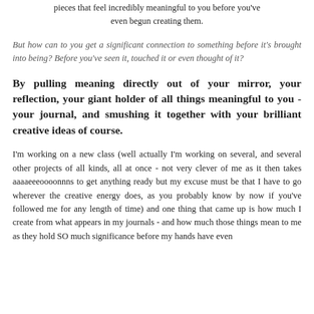pieces that feel incredibly meaningful to you before you've even begun creating them.
But how can to you get a significant connection to something before it's brought into being? Before you've seen it, touched it or even thought of it?
By pulling meaning directly out of your mirror, your reflection, your giant holder of all things meaningful to you - your journal, and smushing it together with your brilliant creative ideas of course.
I'm working on a new class (well actually I'm working on several, and several other projects of all kinds, all at once - not very clever of me as it then takes aaaaeeeooonn s to get anything ready but my excuse must be that I have to go wherever the creative energy does, as you probably know by now if you've followed me for any length of time) and one thing that came up is how much I create from what appears in my journals - and how much those things mean to me as they hold SO much significance before my hands have even